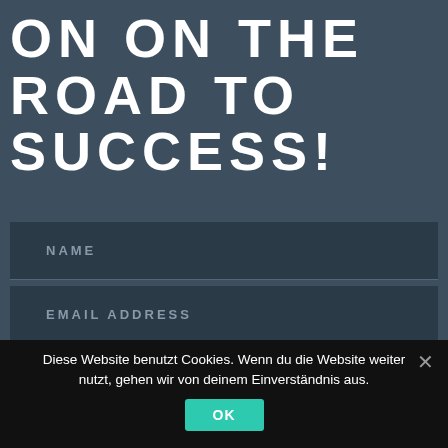ON ON THE ROAD TO SUCCESS!
NAME
EMAIL ADDRESS
Diese Website benutzt Cookies. Wenn du die Website weiter nutzt, gehen wir von deinem Einverständnis aus.
OK